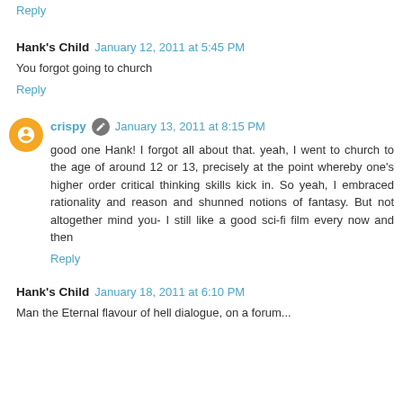Reply
Hank's Child  January 12, 2011 at 5:45 PM
You forgot going to church
Reply
crispy  January 13, 2011 at 8:15 PM
good one Hank! I forgot all about that. yeah, I went to church to the age of around 12 or 13, precisely at the point whereby one's higher order critical thinking skills kick in. So yeah, I embraced rationality and reason and shunned notions of fantasy. But not altogether mind you- I still like a good sci-fi film every now and then
Reply
Hank's Child  January 18, 2011 at 6:10 PM
Man the Eternal flavour of hell dialogue, on a forum...